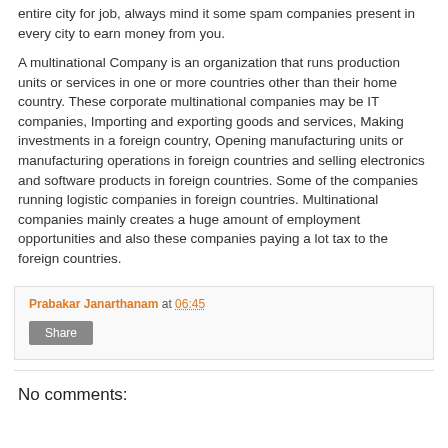entire city for job, always mind it some spam companies present in every city to earn money from you.
A multinational Company is an organization that runs production units or services in one or more countries other than their home country. These corporate multinational companies may be IT companies, Importing and exporting goods and services, Making investments in a foreign country, Opening manufacturing units or manufacturing operations in foreign countries and selling electronics and software products in foreign countries. Some of the companies running logistic companies in foreign countries. Multinational companies mainly creates a huge amount of employment opportunities and also these companies paying a lot tax to the foreign countries.
Prabakar Janarthanam at 06:45
Share
No comments: